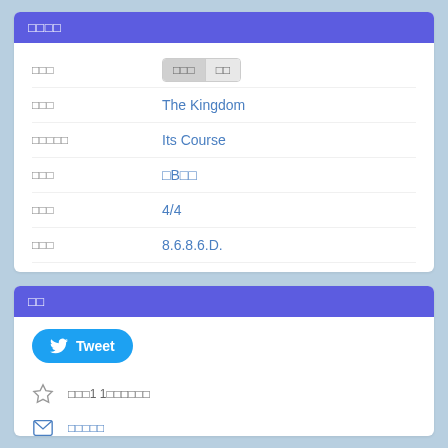□□□□
| □□□ | value |
| --- | --- |
| □□□ | □□□ / □□ |
| □□□ | The Kingdom |
| □□□□□ | Its Course |
| □□□ | □B□□ |
| □□□ | 4/4 |
| □□□ | 8.6.8.6.D. |
| □□□ | 53451177123432 |
□□
Tweet
□□□1 1□□□□□□
□□□□□